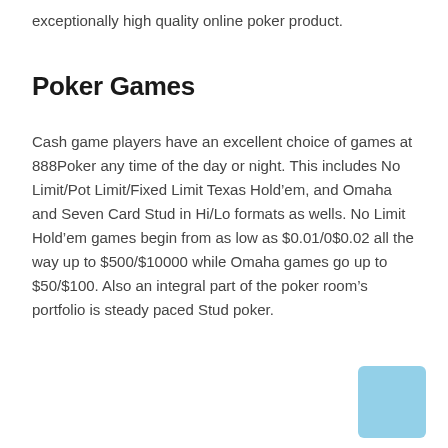exceptionally high quality online poker product.
Poker Games
Cash game players have an excellent choice of games at 888Poker any time of the day or night. This includes No Limit/Pot Limit/Fixed Limit Texas Hold’em, and Omaha and Seven Card Stud in Hi/Lo formats as wells. No Limit Hold’em games begin from as low as $0.01/0$0.02 all the way up to $500/$10000 while Omaha games go up to $50/$100. Also an integral part of the poker room’s portfolio is steady paced Stud poker.
[Figure (other): Light blue rounded rectangle decorative element in bottom right corner]